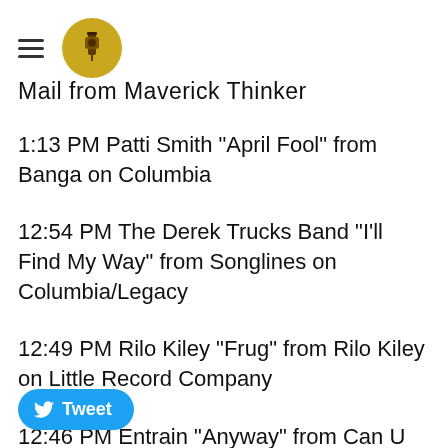Mail from Maverick Thinker
1:13 PM Patti Smith "April Fool" from Banga on Columbia
12:54 PM The Derek Trucks Band "I'll Find My Way" from Songlines on Columbia/Legacy
12:49 PM Rilo Kiley "Frug" from Rilo Kiley on Little Record Company
12:46 PM Entrain "Anyway" from Can U Get It on Dolphin Safe Records
Tweet